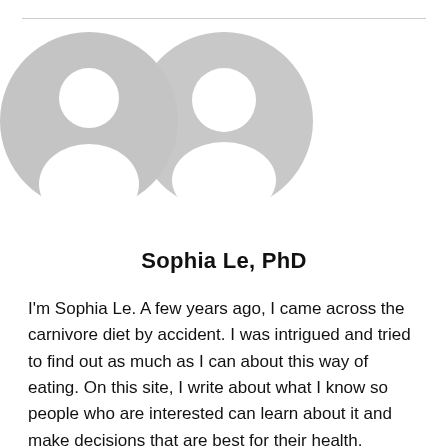[Figure (illustration): Generic user avatar placeholder: a grey circle with a white silhouette of a person (head and shoulders). Used as a profile photo placeholder.]
Sophia Le, PhD
I'm Sophia Le. A few years ago, I came across the carnivore diet by accident. I was intrigued and tried to find out as much as I can about this way of eating. On this site, I write about what I know so people who are interested can learn about it and make decisions that are best for their health.